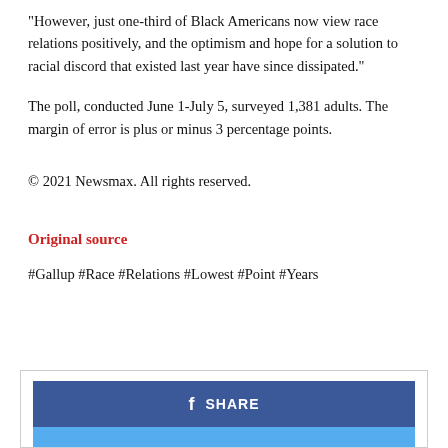“However, just one-third of Black Americans now view race relations positively, and the optimism and hope for a solution to racial discord that existed last year have since dissipated.”
The poll, conducted June 1-July 5, surveyed 1,381 adults. The margin of error is plus or minus 3 percentage points.
© 2021 Newsmax. All rights reserved.
Original source
#Gallup #Race #Relations #Lowest #Point #Years